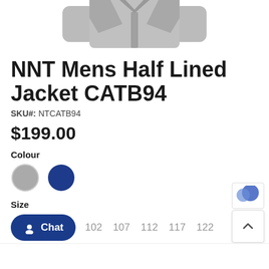[Figure (photo): Product photo of NNT Mens Half Lined Jacket in grey, shown partially at the top of the page, cropped at shoulders and torso area.]
NNT Mens Half Lined Jacket CATB94
SKU#: NTCATB94
$199.00
Colour
[Figure (illustration): Two colour swatches: grey circle and navy/dark blue slightly-clipped circle]
Size
102  107  112  117  122